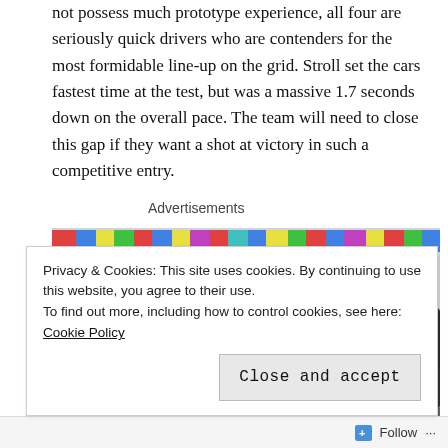not possess much prototype experience, all four are seriously quick drivers who are contenders for the most formidable line-up on the grid. Stroll set the cars fastest time at the test, but was a massive 1.7 seconds down on the overall pace. The team will need to close this gap if they want a shot at victory in such a competitive entry.
Advertisements
[Figure (photo): Photograph of racing cars in a pit garage or paddock area with colorful banners/flags visible across the top of the image. Race cars visible including one with number 15.]
Privacy & Cookies: This site uses cookies. By continuing to use this website, you agree to their use.
To find out more, including how to control cookies, see here: Cookie Policy
Close and accept
Follow ···